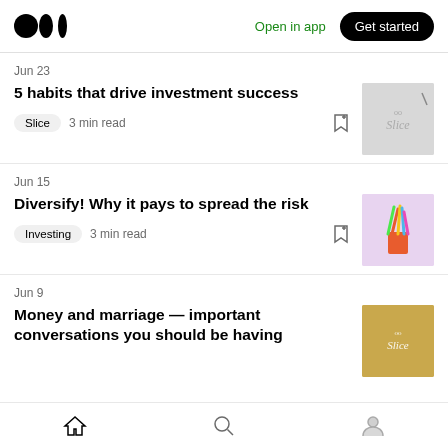Medium — Open in app — Get started
Jun 23
5 habits that drive investment success
Slice  3 min read
Jun 15
Diversify! Why it pays to spread the risk
Investing  3 min read
Jun 9
Money and marriage — important conversations you should be having